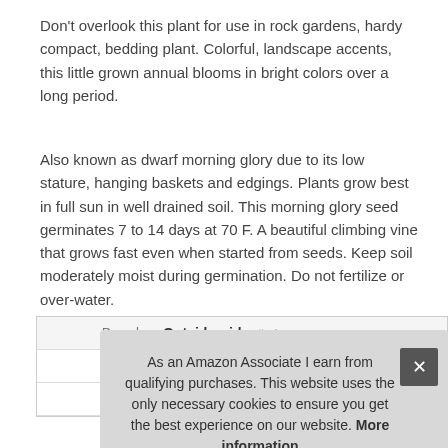Don't overlook this plant for use in rock gardens, hardy compact, bedding plant. Colorful, landscape accents, this little grown annual blooms in bright colors over a long period.
Also known as dwarf morning glory due to its low stature, hanging baskets and edgings. Plants grow best in full sun in well drained soil. This morning glory seed germinates 7 to 14 days at 70 F. A beautiful climbing vine that grows fast even when started from seeds. Keep soil moderately moist during germination. Do not fertilize or over-water.
|  |  |
| --- | --- |
| Brand | Outsidepride #ad |
| Ma |  |
| P |  |
As an Amazon Associate I earn from qualifying purchases. This website uses the only necessary cookies to ensure you get the best experience on our website. More information